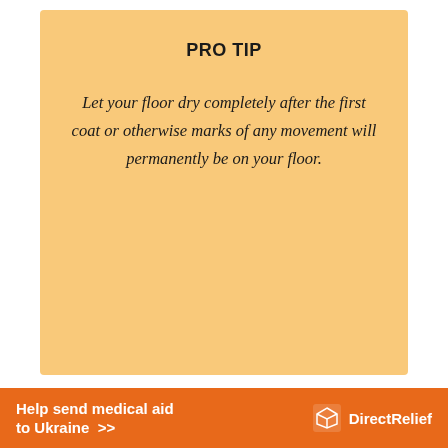PRO TIP
Let your floor dry completely after the first coat or otherwise marks of any movement will permanently be on your floor.
5. Re-coat the Floor Once It is
[Figure (infographic): Orange advertisement banner: Help send medical aid to Ukraine >> with Direct Relief logo]